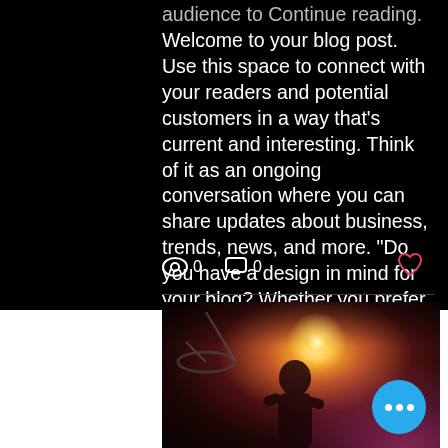audience to Continue reading. Welcome to your blog post. Use this space to connect with your readers and potential customers in a way that's current and interesting. Think of it as an ongoing conversation where you can share updates about business, trends, news, and more. "Do you have a design in mind for your blog? Whether you prefer a trendy postcard look or you're going
[Figure (screenshot): Social media post interaction bar showing eye/view icon with 0, comment icon with 0, and a heart icon on the right]
[Figure (photo): Concert photo showing a musician under bright stage lighting with dramatic warm and pink lighting effects, with a blue circular more options button overlay]